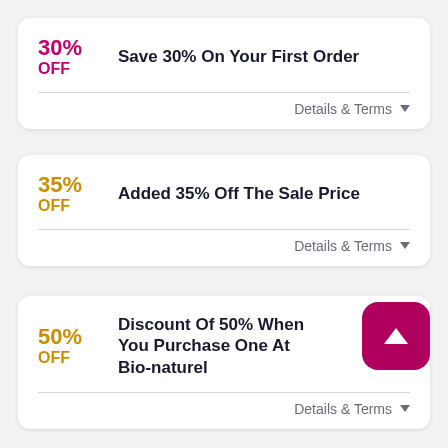30% OFF — Save 30% On Your First Order
Details & Terms
35% OFF — Added 35% Off The Sale Price
Details & Terms
50% OFF — Discount Of 50% When You Purchase One At Bio-naturel
Details & Terms